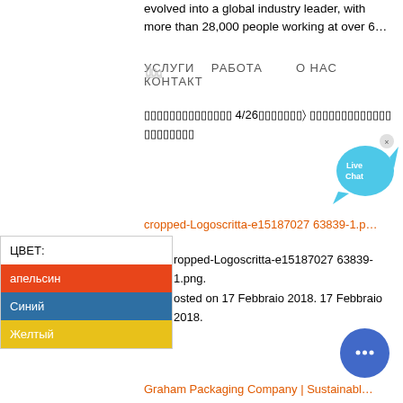evolved into a global industry leader, with more than 28,000 people working at over 6…
УСЛУГИ  РАБОТА       О НАС  КОНТАКТ
▯▯▯▯▯▯▯▯▯▯▯▯▯▯ 4/26▯▯▯▯▯▯▯› ▯▯▯▯▯▯▯▯▯▯▯▯▯ ▯▯▯▯▯▯▯▯
[Figure (other): Live Chat bubble icon with blue speech bubble and fish shape]
cropped-Logoscritta-e15187027 63839-1.p…
ЦВЕТ:
апельсин
Синий
Желтый
cropped-Logoscritta-e15187027 63839-1.png. Posted on 17 Febbraio 2018. 17 Febbraio 2018.
[Figure (other): Blue circular chat button with ellipsis icon]
Graham Packaging Company | Sustainabl…